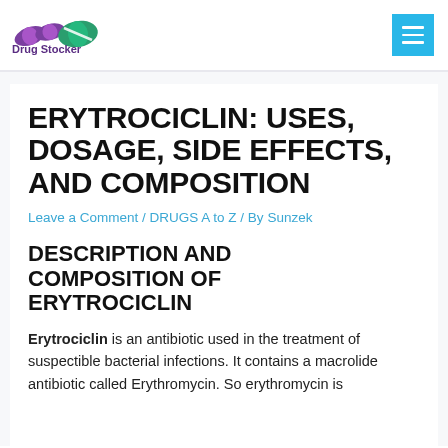Drug Stocker
ERYTROCICLIN: USES, DOSAGE, SIDE EFFECTS, AND COMPOSITION
Leave a Comment / DRUGS A to Z / By Sunzek
DESCRIPTION AND COMPOSITION OF ERYTROCICLIN
Erytrociclin is an antibiotic used in the treatment of suspectible bacterial infections. It contains a macrolide antibiotic called Erythromycin. So erythromycin is